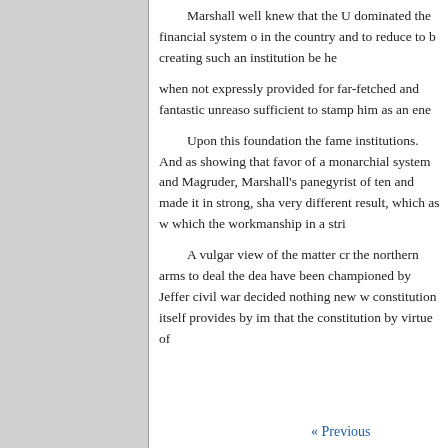Marshall well knew that the U[nited States had] dominated the financial system o[f the country and] in the country and to reduce to b[oth...] creating such an institution be he[ld...] when not expressly provided for [in the Constitution,] far-fetched and fantastic unreaso[ning was] sufficient to stamp him as an ene[my...]
Upon this foundation the fame[d opinion on] institutions. And as showing that [Marshall was in] favor of a monarchial system and [... ] Magruder, Marshall's panegyrist[, has] of ten and made it in strong, sha[rp terms—a] very different result, which as w[e see is one] which the workmanship in a stric[t sense...]
A vulgar view of the matter cr[edits...] the northern arms to deal the dea[ding blow to the] have been championed by Jeffer[son...] civil war decided nothing new w[hich the] constitution itself provides by im[plication,] that the constitution by virtue of [...]
« Previous